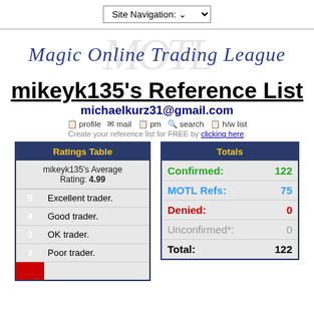Site Navigation:
[Figure (logo): Magic Online Trading League logo with MOTL watermark]
mikeyk135's Reference List
michaelkurz31@gmail.com
profile mail pm search h/w list
Create your reference list for FREE by clicking here.
| Ratings Table |
| --- |
| mikeyk135's Average Rating: 4.99 |
| 5 | Excellent trader. |
| 4 | Good trader. |
| 3 | OK trader. |
| 2 | Poor trader. |
| Totals |
| --- |
| Confirmed: | 122 |
| MOTL Refs: | 75 |
| Denied: | 0 |
| Unconfirmed*: | 0 |
| Total: | 122 |